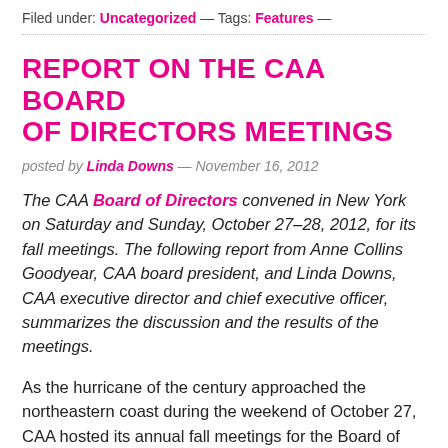Filed under: Uncategorized — Tags: Features —
REPORT ON THE CAA BOARD OF DIRECTORS MEETINGS
posted by Linda Downs — November 16, 2012
The CAA Board of Directors convened in New York on Saturday and Sunday, October 27–28, 2012, for its fall meetings. The following report from Anne Collins Goodyear, CAA board president, and Linda Downs, CAA executive director and chief executive officer, summarizes the discussion and the results of the meetings.
As the hurricane of the century approached the northeastern coast during the weekend of October 27, CAA hosted its annual fall meetings for the Board of